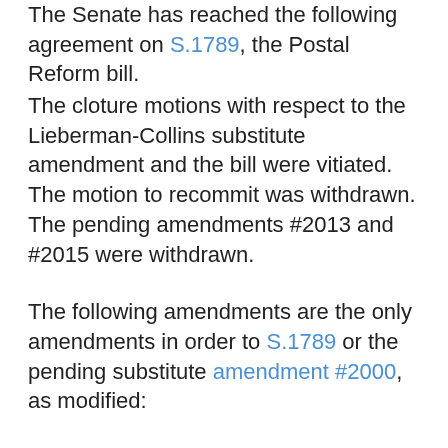The Senate has reached the following agreement on S.1789, the Postal Reform bill. The cloture motions with respect to the Lieberman-Collins substitute amendment and the bill were vitiated. The motion to recommit was withdrawn. The pending amendments #2013 and #2015 were withdrawn.
The following amendments are the only amendments in order to S.1789 or the pending substitute amendment #2000, as modified:
- McCain #2001 (substitute);